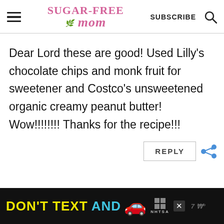Sugar-Free Mom — SUBSCRIBE [search icon]
Dear Lord these are good! Used Lilly's chocolate chips and monk fruit for sweetener and Costco's unsweetened organic creamy peanut butter! Wow!!!!!!!! Thanks for the recipe!!!
[Figure (screenshot): REPLY button and share icon]
[Figure (screenshot): DON'T TEXT AND [car emoji] advertisement banner with ad badge and NHTSA logo at bottom of page]